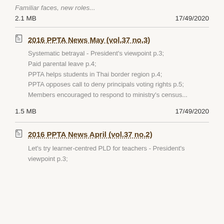Familiar faces, new roles...
2.1 MB   17/49/2020
2016 PPTA News May (vol.37 no.3)
Systematic betrayal - President's viewpoint p.3;
Paid parental leave p.4;
PPTA helps students in Thai border region p.4;
PPTA opposes call to deny principals voting rights p.5;
Members encouraged to respond to ministry's census...
1.5 MB   17/49/2020
2016 PPTA News April (vol.37 no.2)
Let's try learner-centred PLD for teachers - President's viewpoint p.3;